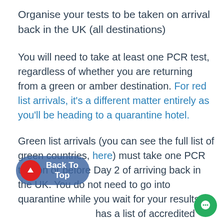Organise your tests to be taken on arrival back in the UK (all destinations)
You will need to take at least one PCR test, regardless of whether you are returning from a green or amber destination. For red list arrivals, it's a different matter entirely as you'll be heading to a quarantine hotel.
Green list arrivals (you can see the full list of green countries, here) must take one PCR test on or before Day 2 of arriving back in the UK. You do not need to go into quarantine while you wait for your results. The Government has a list of accredited PCR test clinics, here, although it is also worth checking with your flight or holiday company to see if they have